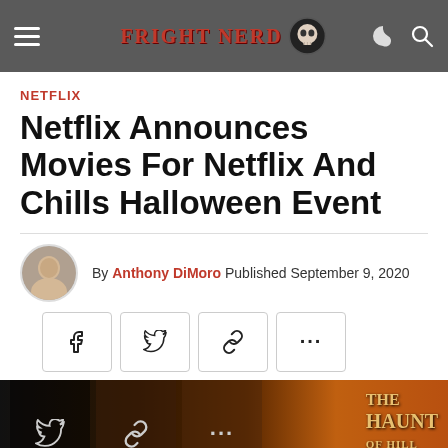FRIGHT NERD — navigation bar with logo, hamburger menu, moon icon, and search icon
NETFLIX
Netflix Announces Movies For Netflix And Chills Halloween Event
By Anthony DiMoro Published September 9, 2020
[Figure (infographic): Social share buttons: Facebook, Twitter, Link, More (...)]
[Figure (photo): Hero image showing dark Halloween-themed scene with Twitter, link and more icons overlaid, and text THE HAUNT OF HILL visible on the right side]